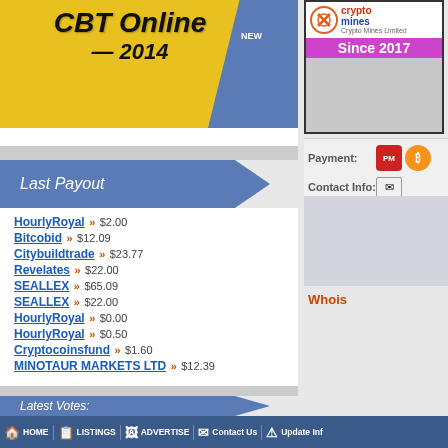[Figure (illustration): CBT Online banner ad with gold coins on yellow background and blue diagonal stripe with NEW badge]
Last Payout
HourlyRoyal >> $2.00
Bitcobid >> $12.09
Citybuildtrade >> $23.77
Revelates >> $22.00
SEALLEX >> $65.09
SEALLEX >> $22.00
HourlyRoyal >> $0.00
HourlyRoyal >> $0.50
Cryptocoinsfund >> $1.60
MINOTAUR MARKETS LTD >> $12.39
Latest Votes:
HourlyRoyal
[Figure (illustration): Cryptomines banner ad - Since 2017]
Payment:
Contact Info:
Whois
HOME | LISTINGS | ADVERTISE | Contact Us | Update Info